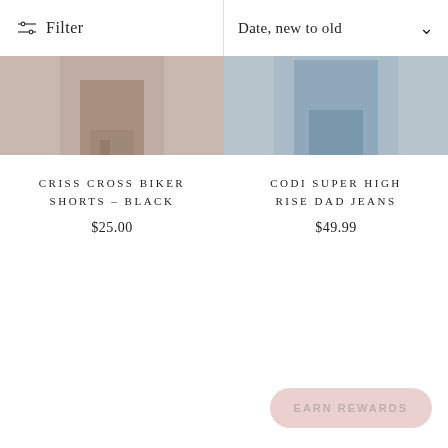[Figure (photo): Partial product photo on left, showing clothing item (black biker shorts) worn by a model, cropped at top]
[Figure (photo): Partial product photo on right, showing clothing item (light blue dad jeans) worn by a model, cropped at top]
Filter | Date, new to old
CRISS CROSS BIKER SHORTS – BLACK
$25.00
CODI SUPER HIGH RISE DAD JEANS
$49.99
EARN REWARDS